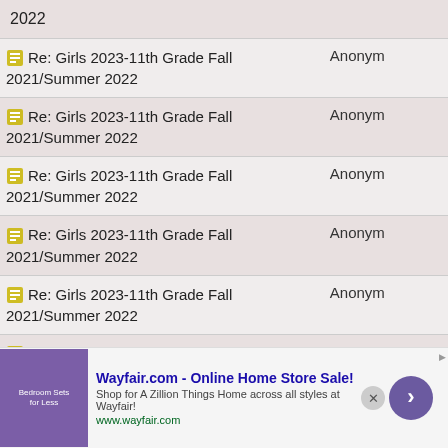| Topic | Author |
| --- | --- |
| 2022 |  |
| Re: Girls 2023-11th Grade Fall 2021/Summer 2022 | Anonym |
| Re: Girls 2023-11th Grade Fall 2021/Summer 2022 | Anonym |
| Re: Girls 2023-11th Grade Fall 2021/Summer 2022 | Anonym |
| Re: Girls 2023-11th Grade Fall 2021/Summer 2022 | Anonym |
| Re: Girls 2023-11th Grade Fall 2021/Summer 2022 | Anonym |
| Re: Girls 2023-11th Grade Fall 2021/Summer 2022 | Anonym |
| Re: Girls 2023-11th Grade Fall 2021/Summer 2022 | Anonym |
| Re: Girls 2023-11th Grade Fall | Anonym |
[Figure (screenshot): Wayfair.com advertisement banner at the bottom of the page]